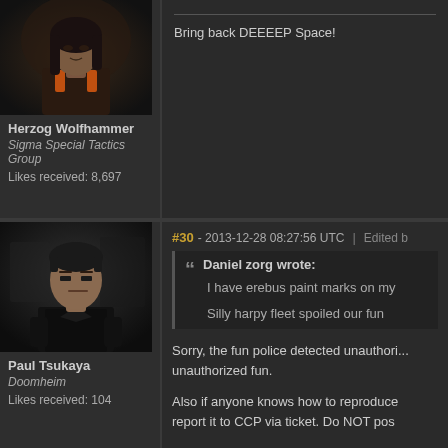[Figure (photo): Avatar portrait of Herzog Wolfhammer — dark-haired character in futuristic sci-fi setting with orange accent on collar]
Herzog Wolfhammer
Sigma Special Tactics Group
Likes received: 8,697
Bring back DEEEEP Space!
#30 - 2013-12-28 08:27:56 UTC  |  Edited b
[Figure (photo): Avatar portrait of Paul Tsukaya — older stern-looking character in dark futuristic uniform]
Paul Tsukaya
Doomheim
Likes received: 104
Daniel zorg wrote:
I have erebus paint marks on my

Silly harpy fleet spoiled our fun
Sorry, the fun police detected unauthori... unauthorized fun.
Also if anyone knows how to reproduce report it to CCP via ticket. Do NOT pos